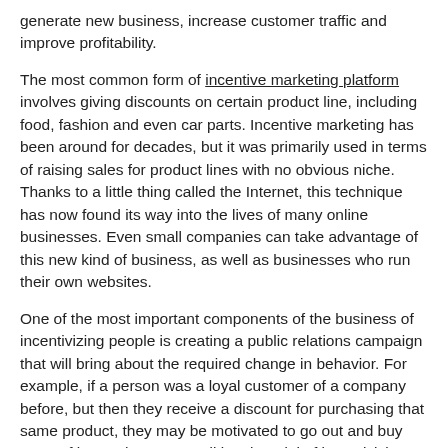generate new business, increase customer traffic and improve profitability.
The most common form of incentive marketing platform involves giving discounts on certain product line, including food, fashion and even car parts. Incentive marketing has been around for decades, but it was primarily used in terms of raising sales for product lines with no obvious niche. Thanks to a little thing called the Internet, this technique has now found its way into the lives of many online businesses. Even small companies can take advantage of this new kind of business, as well as businesses who run their own websites.
One of the most important components of the business of incentivizing people is creating a public relations campaign that will bring about the required change in behavior. For example, if a person was a loyal customer of a company before, but then they receive a discount for purchasing that same product, they may be motivated to go out and buy more of it. For the more traditional model of incentivizing customers, there is a need to tweak pricing to be more appealing to them. Sometimes, there needs to be a little added bonus of some kind in order to get a customer to spend their money in that particular manner. This may be as simple as a small discount or perhaps a money-back guarantee on any purchases of that particular product.